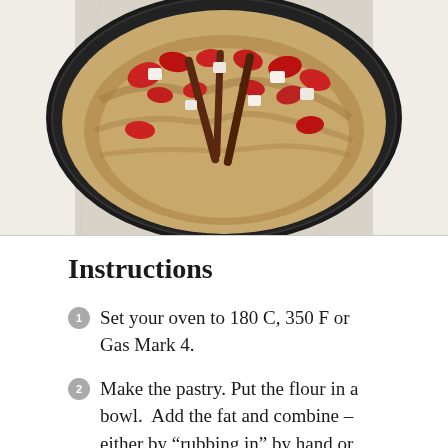[Figure (photo): Top-down view of a baked tart in a fluted dark tart pan on a marble surface, topped with red peppers, anchovies, and white cheese pieces]
Instructions
Set your oven to 180 C, 350 F or Gas Mark 4.
Make the pastry. Put the flour in a bowl.  Add the fat and combine – either by “rubbing in” by hand or processing – until the mixture resembles breadcrumbs.  Season